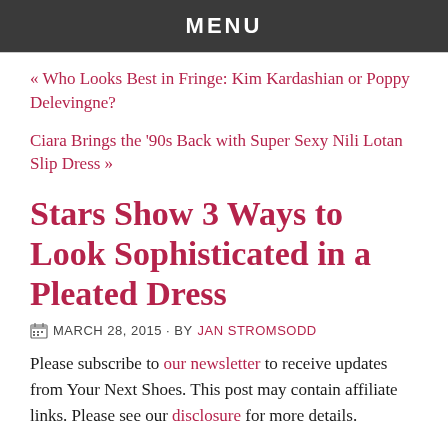MENU
« Who Looks Best in Fringe: Kim Kardashian or Poppy Delevingne?
Ciara Brings the '90s Back with Super Sexy Nili Lotan Slip Dress »
Stars Show 3 Ways to Look Sophisticated in a Pleated Dress
MARCH 28, 2015 · BY JAN STROMSODD
Please subscribe to our newsletter to receive updates from Your Next Shoes. This post may contain affiliate links. Please see our disclosure for more details.
There's just something so sophisticated and feminine about pleated dresses. Whether they